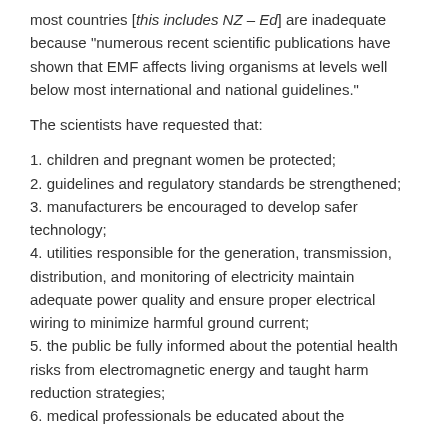most countries [this includes NZ – Ed] are inadequate because "numerous recent scientific publications have shown that EMF affects living organisms at levels well below most international and national guidelines."
The scientists have requested that:
1. children and pregnant women be protected;
2. guidelines and regulatory standards be strengthened;
3. manufacturers be encouraged to develop safer technology;
4. utilities responsible for the generation, transmission, distribution, and monitoring of electricity maintain adequate power quality and ensure proper electrical wiring to minimize harmful ground current;
5. the public be fully informed about the potential health risks from electromagnetic energy and taught harm reduction strategies;
6. medical professionals be educated about the